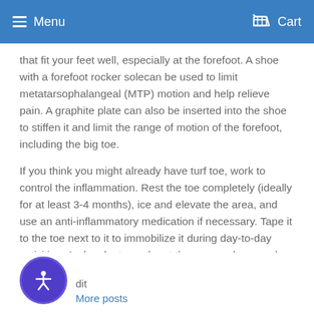Menu  Cart
that fit your feet well, especially at the forefoot. A shoe with a forefoot rocker solecan be used to limit metatarsophalangeal (MTP) motion and help relieve pain. A graphite plate can also be inserted into the shoe to stiffen it and limit the range of motion of the forefoot, including the big toe.
If you think you might already have turf toe, work to control the inflammation. Rest the toe completely (ideally for at least 3-4 months), ice and elevate the area, and use an anti-inflammatory medication if necessary. Tape it to the toe next to it to immobilize it during day-to-day activities. And make to seek out the proper shoes and inserts when you decide to get back onto the field after healing process – don't let this become a chronic injury!
[Figure (illustration): Accessibility icon — person in circle with purple background]
dit
More posts